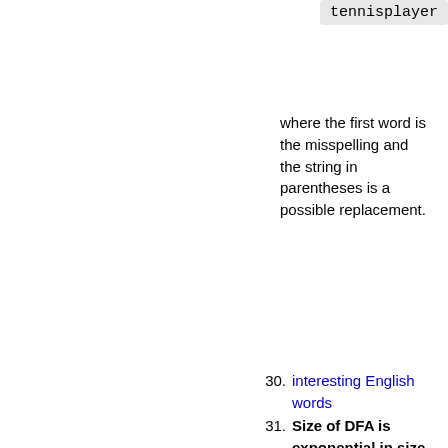[Figure (screenshot): Code snippet showing 'tennisplayer' in a grey box at top right]
where the first word is the misspelling and the string in parentheses is a possible replacement.
30. interesting English words
31. Size of DFA is exponential in size of RE. Give a RE for the set of all bitstrings